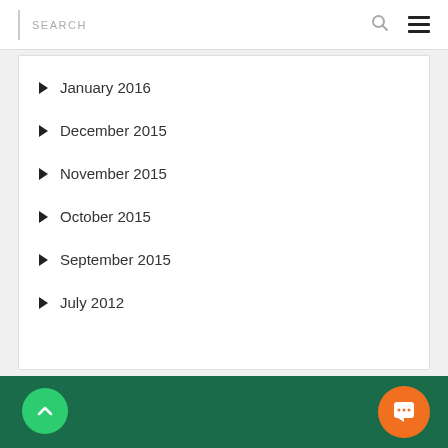SEARCH
January 2016
December 2015
November 2015
October 2015
September 2015
July 2012